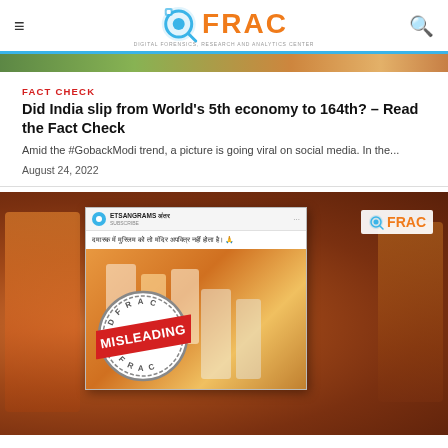DFRAC - Digital Forensics, Research and Analytics Center
[Figure (screenshot): Partial top image strip from article thumbnail]
FACT CHECK
Did India slip from World's 5th economy to 164th? – Read the Fact Check
Amid the #GobackModi trend, a picture is going viral on social media. In the...
August 24, 2022
[Figure (screenshot): Fact-check article thumbnail image showing Hindu religious leaders with a MISLEADING stamp from DFRAC, with a social media post screenshot overlay in Hindi]